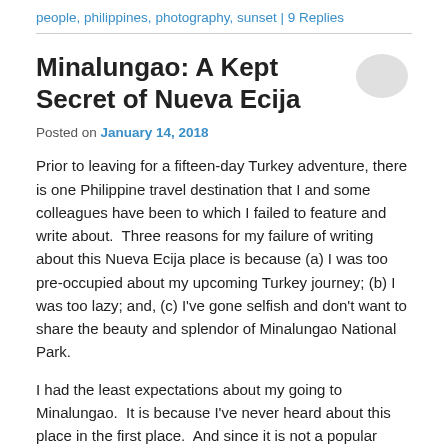people, philippines, photography, sunset | 9 Replies
Minalungao: A Kept Secret of Nueva Ecija
Posted on January 14, 2018
Prior to leaving for a fifteen-day Turkey adventure, there is one Philippine travel destination that I and some colleagues have been to which I failed to feature and write about.  Three reasons for my failure of writing about this Nueva Ecija place is because (a) I was too pre-occupied about my upcoming Turkey journey; (b) I was too lazy; and, (c) I've gone selfish and don't want to share the beauty and splendor of Minalungao National Park.
I had the least expectations about my going to Minalungao.  It is because I've never heard about this place in the first place.  And since it is not a popular Philippine destination, the site must be some mediocre